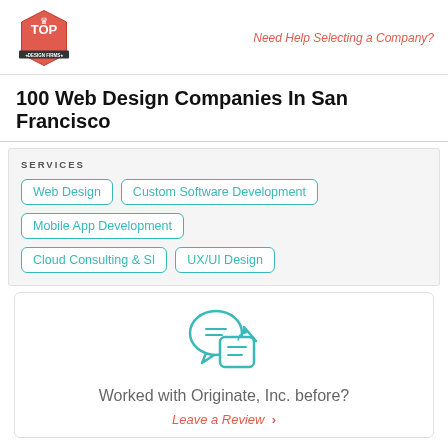Need Help Selecting a Company?
100 Web Design Companies In San Francisco
SERVICES
Web Design
Custom Software Development
Mobile App Development
Cloud Consulting & SI
UX/UI Design
Worked with Originate, Inc. before?
Leave a Review >